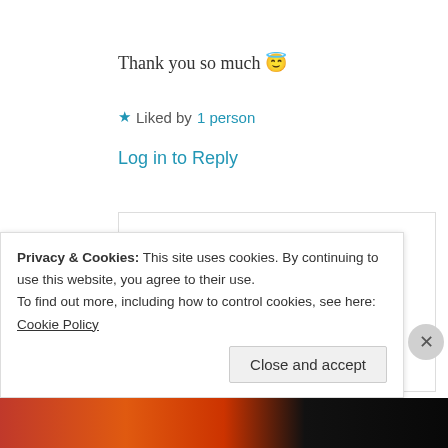Thank you so much 😇
★ Liked by 1 person
Log in to Reply
[Figure (photo): Circular avatar photo of user nighatriaz showing a brownish/golden toned image]
nighatriaz
7th Jul 2021 at 1:16 am
Privacy & Cookies: This site uses cookies. By continuing to use this website, you agree to their use.
To find out more, including how to control cookies, see here: Cookie Policy
Close and accept